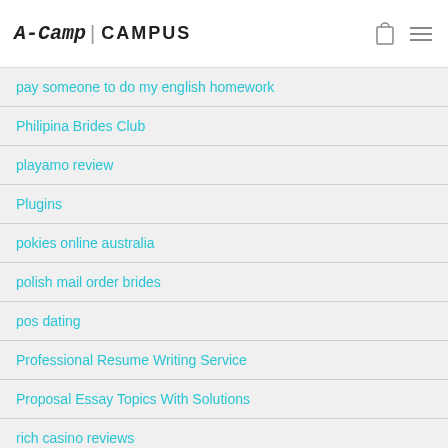A-Camp | CAMPUS
pay someone to do my english homework
Philipina Brides Club
playamo review
Plugins
pokies online australia
polish mail order brides
pos dating
Professional Resume Writing Service
Proposal Essay Topics With Solutions
rich casino reviews
ROM Games
ROM Games and Emulators